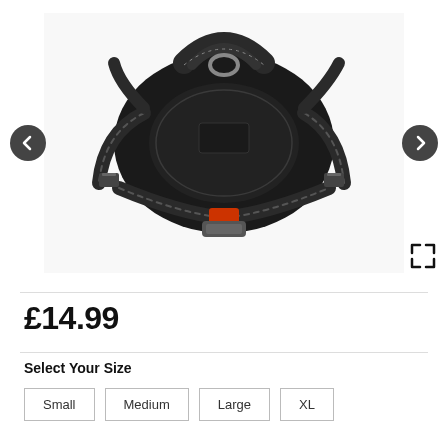[Figure (photo): A black dog harness with adjustable straps, buckles, and an orange/red safety clip, shown on a white background]
£14.99
Select Your Size
Small
Medium
Large
XL